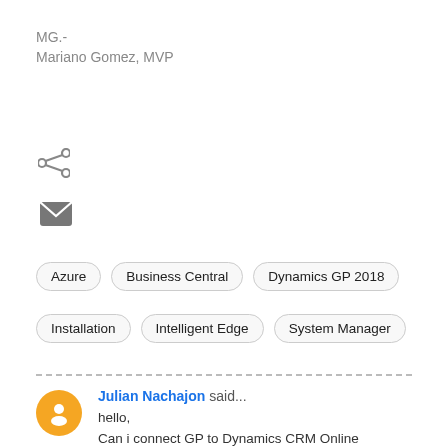MG.-
Mariano Gomez, MVP
[Figure (illustration): Share icon (less-than symbol style)]
[Figure (illustration): Mail/envelope icon]
Azure  Business Central  Dynamics GP 2018  Installation  Intelligent Edge  System Manager
Julian Nachajon said...
hello,
Can i connect GP to Dynamics CRM Online with this tool?
there is any connector to use?